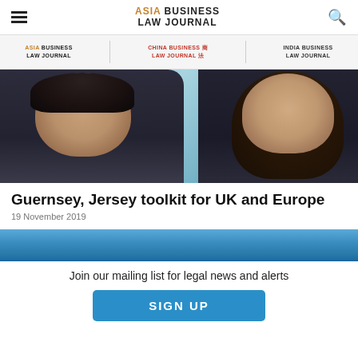ASIA BUSINESS LAW JOURNAL
[Figure (logo): Asia Business Law Journal logo with hamburger menu and search icon]
[Figure (logo): Navigation bar with three publication logos: Asia Business Law Journal, China Business Law Journal, India Business Law Journal]
[Figure (photo): Two professionals (man and woman) against a light blue background]
Guernsey, Jersey toolkit for UK and Europe
19 November 2019
[Figure (photo): Blue sky/banner image]
Join our mailing list for legal news and alerts
SIGN UP